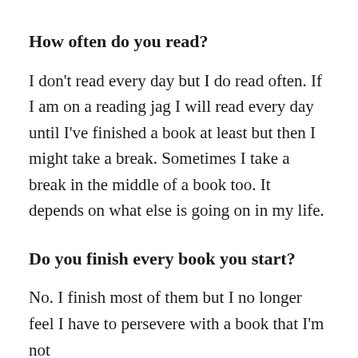How often do you read?
I don't read every day but I do read often. If I am on a reading jag I will read every day until I've finished a book at least but then I might take a break. Sometimes I take a break in the middle of a book too. It depends on what else is going on in my life.
Do you finish every book you start?
No. I finish most of them but I no longer feel I have to persevere with a book that I'm not